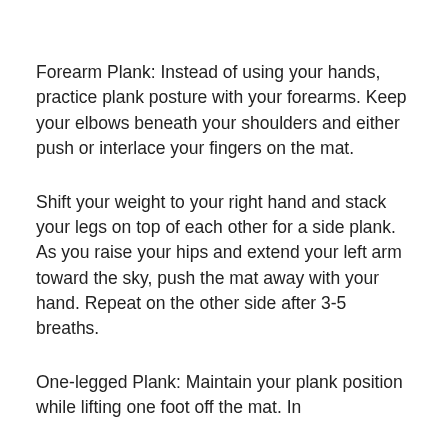Forearm Plank: Instead of using your hands, practice plank posture with your forearms. Keep your elbows beneath your shoulders and either push or interlace your fingers on the mat.
Shift your weight to your right hand and stack your legs on top of each other for a side plank. As you raise your hips and extend your left arm toward the sky, push the mat away with your hand. Repeat on the other side after 3-5 breaths.
One-legged Plank: Maintain your plank position while lifting one foot off the mat. In